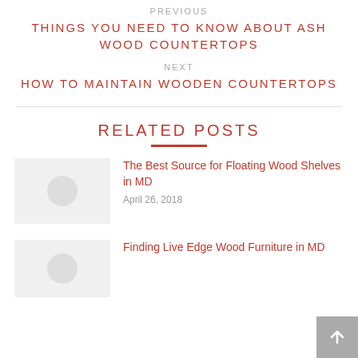PREVIOUS
THINGS YOU NEED TO KNOW ABOUT ASH WOOD COUNTERTOPS
NEXT
HOW TO MAINTAIN WOODEN COUNTERTOPS
RELATED POSTS
The Best Source for Floating Wood Shelves in MD
April 26, 2018
Finding Live Edge Wood Furniture in MD